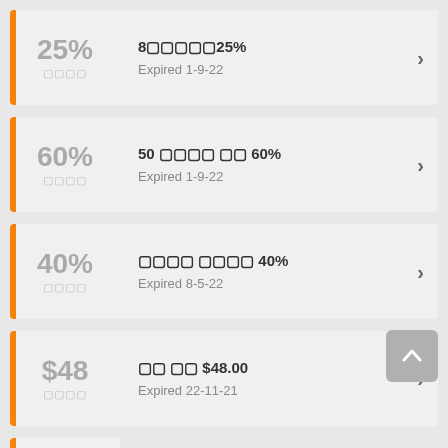25% 折扣 — 8個項目25% — Expired 1-9-22
60% 折扣 — 50 個項目 折扣 60% — Expired 1-9-22
40% 折扣 — 個人 折扣 40% — Expired 8-5-22
$48 折扣 — 折扣 金額 $48.00 — Expired 22-11-21